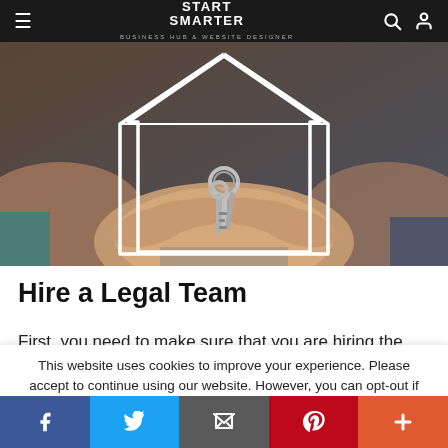Start Smarter - Business Hub & Website Designer
[Figure (photo): Two pairs of hands cupped together holding a set of house/property keys, with a white geometric house outline overlay on top of the image.]
Hire a Legal Team
First, you need to make sure that you are hiring the right
This website uses cookies to improve your experience. Please accept to continue using our website. However, you can opt-out if you wish.
Facebook | Twitter | Email | Pinterest | More